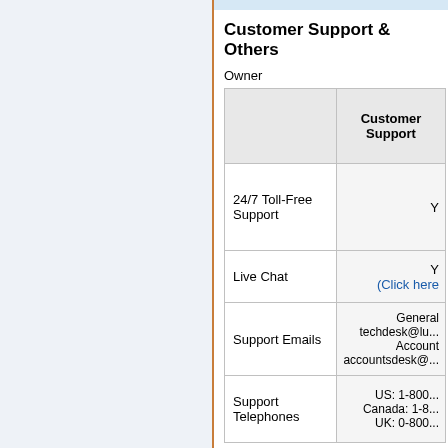Customer Support & Others
Owner
|  | Customer Support |
| --- | --- |
| 24/7 Toll-Free Support | Y |
| Live Chat | Y
(Click here |
| Support Emails | General
techdesk@lu...
Account
accountsdesk@... |
| Support Telephones | US: 1-800...
Canada: 1-8...
UK: 0-800... |